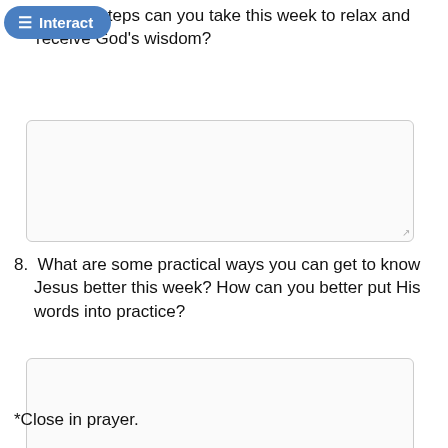≡ Interact
7. What steps can you take this week to relax and receive God's wisdom?
8. What are some practical ways you can get to know Jesus better this week? How can you better put His words into practice?
*Close in prayer.